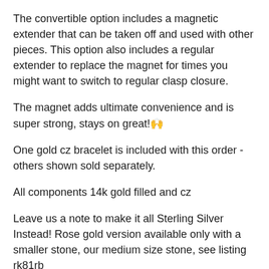The convertible option includes a magnetic extender that can be taken off and used with other pieces. This option also includes a regular extender to replace the magnet for times you might want to switch to regular clasp closure.
The magnet adds ultimate convenience and is super strong, stays on great!🙌
One gold cz bracelet is included with this order - others shown sold separately.
All components 14k gold filled and cz
Leave us a note to make it all Sterling Silver Instead! Rose gold version available only with a smaller stone, our medium size stone, see listing rk81rb